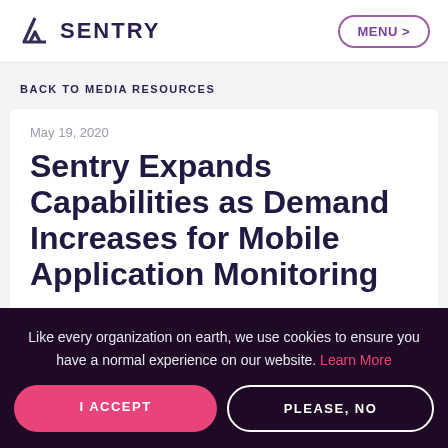SENTRY  MENU >
BACK TO MEDIA RESOURCES
May 19, 2020
Sentry Expands Capabilities as Demand Increases for Mobile Application Monitoring
Like every organization on earth, we use cookies to ensure you have a normal experience on our website. Learn More
I ACCEPT
PLEASE, NO